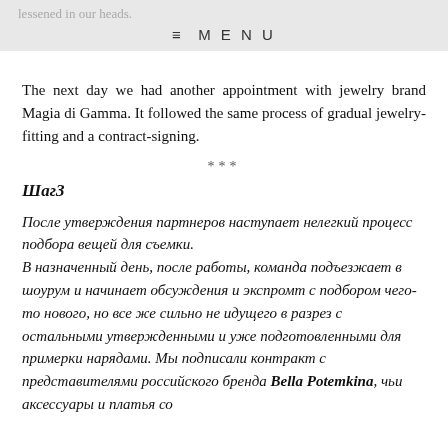lessened in our heads.
≡ MENU
The next day we had another appointment with jewelry brand Magia di Gamma. It followed the same process of gradual jewelry-fitting and a contract-signing.
***
Шаг3
После утверждения партнеров наступает нелегкий процесс подбора вещей для съемки.
В назначенный день, после работы, команда подъезжает в шоурум и начинает обсуждения и экспромт с подбором чего-то нового, но все же сильно не идущего в разрез с остальными утвержденными и уже подготовленными для примерки нарядами. Мы подписали контракт с представителями российского бренда Bella Potemkina, чьи аксессуары и платья со